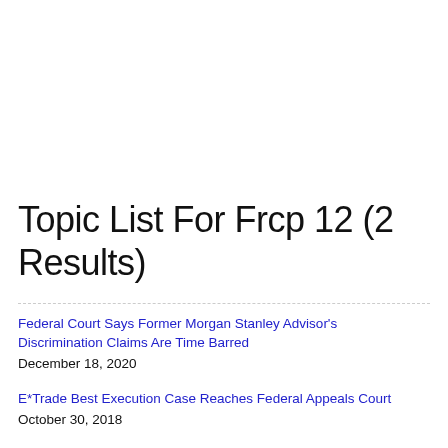Topic List For Frcp 12 (2 Results)
Federal Court Says Former Morgan Stanley Advisor's Discrimination Claims Are Time Barred
December 18, 2020
E*Trade Best Execution Case Reaches Federal Appeals Court
October 30, 2018